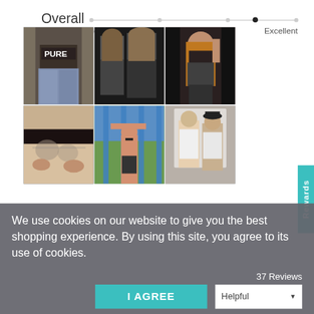[Figure (infographic): Overall rating slider showing a scale from Meh to Good to Excellent, with a filled dot near the Excellent end of the track]
[Figure (photo): Grid of six user-submitted photos showing people wearing clothing products — leggings and activewear. Top row: person in patterned shorts, couple posing, woman in dark top. Bottom row: close-up of waistband, person doing outdoor workout, man in white tank top.]
[Figure (screenshot): Rewards tab on right edge in teal color with white vertical text 'Rewards']
We use cookies on our website to give you the best shopping experience. By using this site, you agree to its use of cookies.
37 Reviews
I AGREE
Helpful